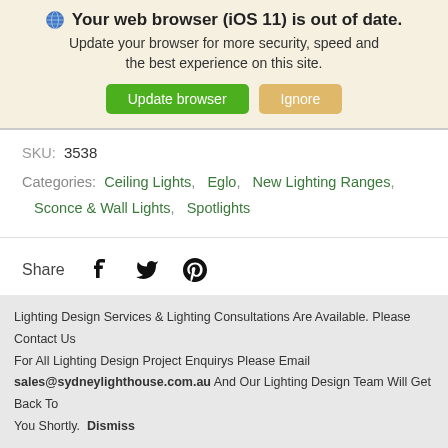🌐 Your web browser (iOS 11) is out of date.
Update your browser for more security, speed and the best experience on this site.
Update browser  Ignore
SKU:  3538
Categories:  Ceiling Lights,  Eglo,  New Lighting Ranges,  Sconce & Wall Lights,  Spotlights
Share
Lighting Design Services & Lighting Consultations Are Available. Please Contact Us
For All Lighting Design Project Enquirys Please Email
sales@sydneylighthouse.com.au And Our Lighting Design Team Will Get Back To You Shortly.  Dismiss